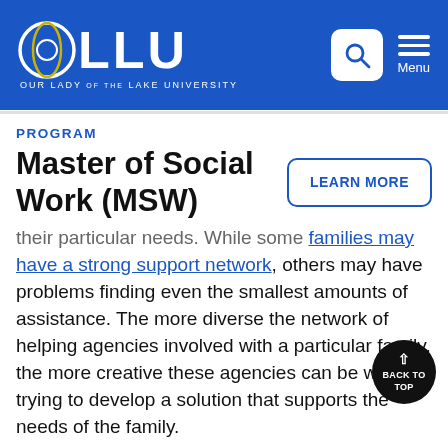[Figure (logo): OLLU - Our Lady of the Lake University logo in white on blue header background, with search icon and menu button]
PROGRAM
Master of Social Work (MSW)
their particular needs. While some families may have a strong support network, others may have problems finding even the smallest amounts of assistance. The more diverse the network of helping agencies involved with a particular family, the more creative these agencies can be when trying to develop a solution that supports the needs of the family.
Most importantly, children need to be kept safe. For